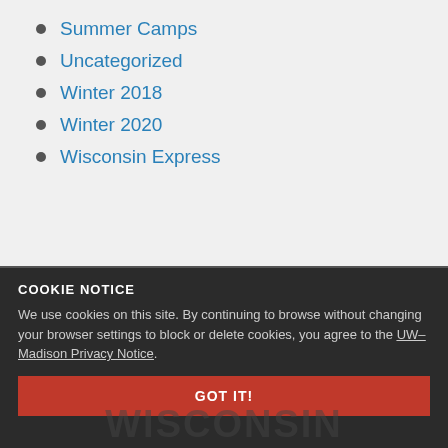Summer Camps
Uncategorized
Winter 2018
Winter 2020
Wisconsin Express
COOKIE NOTICE
We use cookies on this site. By continuing to browse without changing your browser settings to block or delete cookies, you agree to the UW–Madison Privacy Notice.
GOT IT!
WISCONSIN